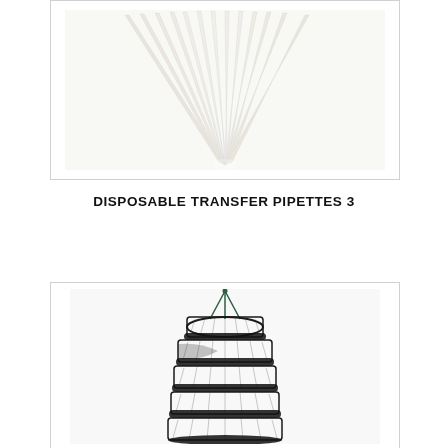[Figure (photo): Photo of disposable transfer pipettes arranged in a fan/spread pattern, white plastic pipettes against a white/light background, viewed from above with the tips pointing outward]
DISPOSABLE TRANSFER PIPETTES 3
[Figure (photo): Photo of a multi-tier hanging drying rack/net with approximately 6-7 black mesh circular layers connected by green rope/string hanging from the top, used for drying herbs or lab specimens]